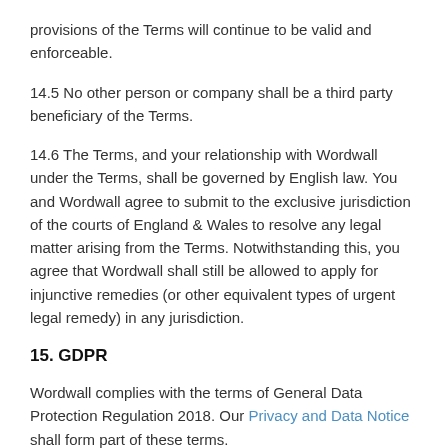provisions of the Terms will continue to be valid and enforceable.
14.5 No other person or company shall be a third party beneficiary of the Terms.
14.6 The Terms, and your relationship with Wordwall under the Terms, shall be governed by English law. You and Wordwall agree to submit to the exclusive jurisdiction of the courts of England & Wales to resolve any legal matter arising from the Terms. Notwithstanding this, you agree that Wordwall shall still be allowed to apply for injunctive remedies (or other equivalent types of urgent legal remedy) in any jurisdiction.
15. GDPR
Wordwall complies with the terms of General Data Protection Regulation 2018. Our Privacy and Data Notice shall form part of these terms.